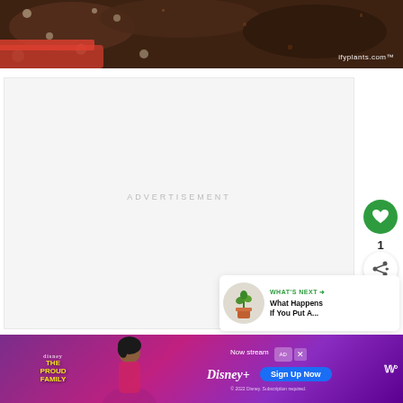[Figure (photo): Close-up photo of dark soil/compost in a red container. Watermark text 'ifyplants.com™' visible in bottom right corner.]
ADVERTISEMENT
[Figure (other): Green circular heart/like button with white heart icon, count '1' below it, and a white circular share button with share icon below that.]
[Figure (other): What's Next panel with thumbnail image of a plant in a pot, label 'WHAT'S NEXT →', and text 'What Happens If You Put A...']
[Figure (other): Disney+ advertisement banner for 'The Proud Family: Louder and Prouder'. Shows 'Now streaming' text, 'Sign Up Now' blue button, Disney+ logo, copyright '© 2022 Disney. Subscription required.' Close and ad-choice icons on right side, and weather app icon.]